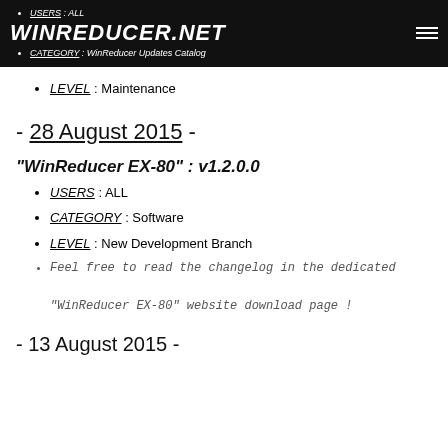WINREDUCER.NET | USERS : ALL | CATEGORY : WinReducer Updates Catalog
LEVEL : Maintenance
- 28 August 2015 -
"WinReducer EX-80" : v1.2.0.0
USERS : ALL
CATEGORY : Software
LEVEL : New Development Branch
Feel free to read the changelog in the dedicated "WinReducer EX-80" website download page !
- 13 August 2015 -